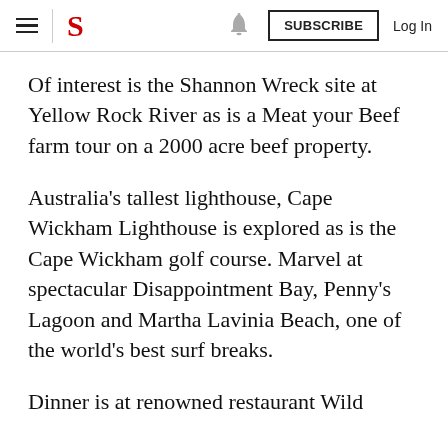S  SUBSCRIBE  Log In
Of interest is the Shannon Wreck site at Yellow Rock River as is a Meat your Beef farm tour on a 2000 acre beef property.
Australia's tallest lighthouse, Cape Wickham Lighthouse is explored as is the Cape Wickham golf course. Marvel at spectacular Disappointment Bay, Penny's Lagoon and Martha Lavinia Beach, one of the world's best surf breaks.
Dinner is at renowned restaurant Wild